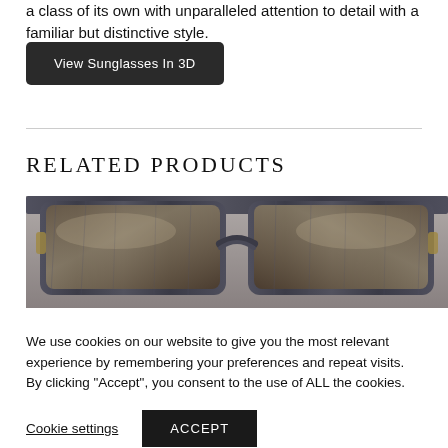a class of its own with unparalleled attention to detail with a familiar but distinctive style.
View Sunglasses In 3D
RELATED PRODUCTS
[Figure (photo): Close-up photo of dark grey/charcoal marbled sunglasses frame with brown tinted lenses, viewed from the front, cropped to show upper portion.]
We use cookies on our website to give you the most relevant experience by remembering your preferences and repeat visits. By clicking "Accept", you consent to the use of ALL the cookies.
Cookie settings
ACCEPT